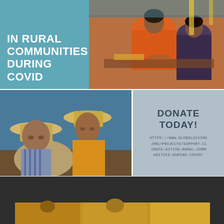IN RURAL COMMUNITIES DURING COVID
[Figure (photo): Photo of children working on craft/weaving activity, top right]
[Figure (photo): Photo of two men wearing straw hats, one in yellow shirt, outdoors]
DONATE TODAY!
HTTPS://WWW.GLOBALGIVING.ORG/PROJECTS/SUPPORT-CLIMATE-ACTION-RURAL-COMMUNITIES-DURING-COVID/
Donate Today!
[Figure (photo): Bottom section dark background with partial golden/yellow photo strip]